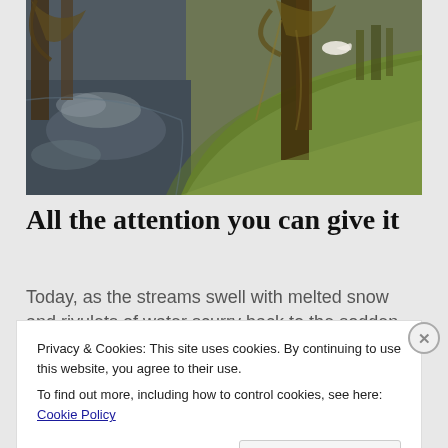[Figure (photo): Outdoor nature photo showing a pond or stream with reflections of trees, green grassy bank sloping down to the water, bare trees, and a white swan visible in the background. The image has a warm, slightly vintage tone.]
All the attention you can give it
Today, as the streams swell with melted snow and rivulets of water scurry back to the sodden
Privacy & Cookies: This site uses cookies. By continuing to use this website, you agree to their use.
To find out more, including how to control cookies, see here: Cookie Policy
Close and accept